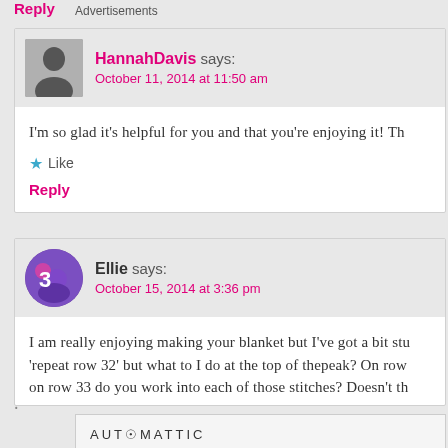Reply
HannahDavis says: October 11, 2014 at 11:50 am
I'm so glad it's helpful for you and that you're enjoying it! Th
Like
Reply
Ellie says: October 15, 2014 at 3:36 pm
I am really enjoying making your blanket but I've got a bit stu 'repeat row 32' but what to I do at the top of thepeak? On row on row 33 do you work into each of those stitches? Doesn't th
Advertisements
AUTOMATTIC Build a better web and a better world.